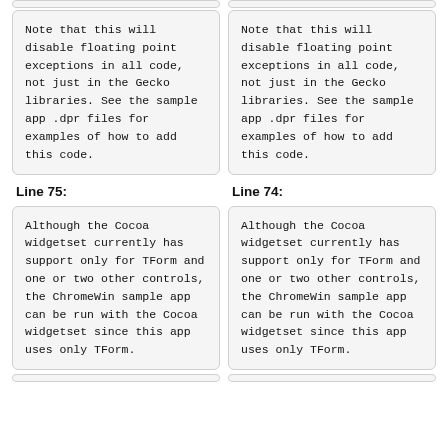Note that this will disable floating point exceptions in all code, not just in the Gecko libraries. See the sample app .dpr files for examples of how to add this code.
Note that this will disable floating point exceptions in all code, not just in the Gecko libraries. See the sample app .dpr files for examples of how to add this code.
Line 75:
Line 74:
Although the Cocoa widgetset currently has support only for TForm and one or two other controls, the ChromeWin sample app can be run with the Cocoa widgetset since this app uses only TForm.
Although the Cocoa widgetset currently has support only for TForm and one or two other controls, the ChromeWin sample app can be run with the Cocoa widgetset since this app uses only TForm.